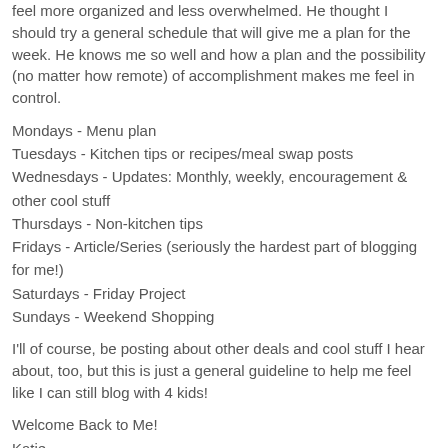feel more organized and less overwhelmed. He thought I should try a general schedule that will give me a plan for the week. He knows me so well and how a plan and the possibility (no matter how remote) of accomplishment makes me feel in control.
Mondays - Menu plan
Tuesdays - Kitchen tips or recipes/meal swap posts
Wednesdays - Updates: Monthly, weekly, encouragement & other cool stuff
Thursdays - Non-kitchen tips
Fridays - Article/Series (seriously the hardest part of blogging for me!)
Saturdays - Friday Project
Sundays - Weekend Shopping
I'll of course, be posting about other deals and cool stuff I hear about, too, but this is just a general guideline to help me feel like I can still blog with 4 kids!
Welcome Back to Me!
Katie